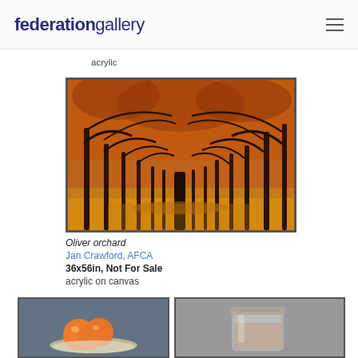federationgallery
acrylic
[Figure (photo): Painting of an olive orchard in autumn with rows of dark-trunked trees, orange-red foliage canopy, and fallen orange leaves on the ground, creating a tunnel perspective]
Oliver orchard
Jan Crawford, AFCA
36x56in, Not For Sale
acrylic on canvas
[Figure (photo): Painting of peaches or oranges on a plate against dark background]
[Figure (photo): Painting of a glass jar, grey tones]